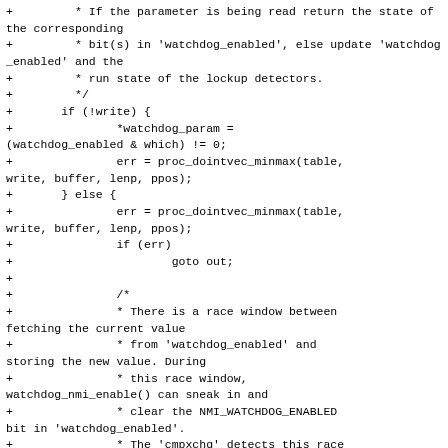+         * If the parameter is being read return the state of the corresponding
+         * bit(s) in 'watchdog_enabled', else update 'watchdog_enabled' and the
+         * run state of the lockup detectors.
+         */
+       if (!write) {
+               *watchdog_param =
(watchdog_enabled & which) != 0;
+               err = proc_dointvec_minmax(table,
write, buffer, lenp, ppos);
+       } else {
+               err = proc_dointvec_minmax(table,
write, buffer, lenp, ppos);
+               if (err)
+                       goto out;
+
+               /*
+               * There is a race window between
fetching the current value
+               * from 'watchdog_enabled' and
storing the new value. During
+               * this race window,
watchdog_nmi_enable() can sneak in and
+               * clear the NMI_WATCHDOG_ENABLED
bit in 'watchdog_enabled'.
+               * The 'cmpxchg' detects this race
and the loop retries.
+               */
+               do {